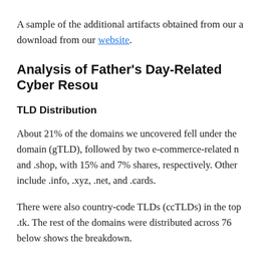A sample of the additional artifacts obtained from our analysis can be downloaded from our website.
Analysis of Father's Day-Related Cyber Resources
TLD Distribution
About 21% of the domains we uncovered fell under the generic top-level domain (gTLD), followed by two e-commerce-related new gTLDs: .store and .shop, with 15% and 7% shares, respectively. Other popular TLDs include .info, .xyz, .net, and .cards.
There were also country-code TLDs (ccTLDs) in the top results, such as .tk. The rest of the domains were distributed across 76 other TLDs. The chart below shows the breakdown.